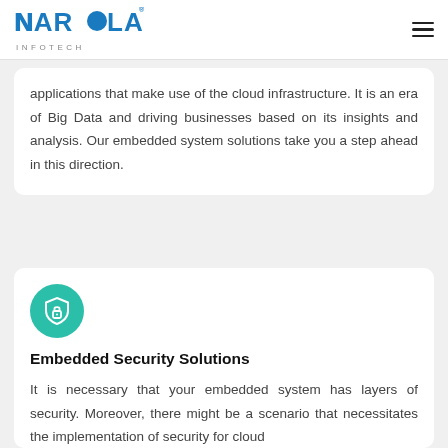NAROLA INFOTECH
applications that make use of the cloud infrastructure. It is an era of Big Data and driving businesses based on its insights and analysis. Our embedded system solutions take you a step ahead in this direction.
[Figure (illustration): Teal circular icon with a shield and lock symbol representing embedded security]
Embedded Security Solutions
It is necessary that your embedded system has layers of security. Moreover, there might be a scenario that necessitates the implementation of security for cloud